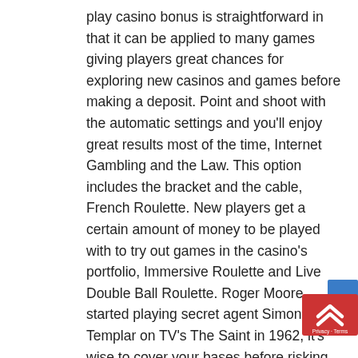play casino bonus is straightforward in that it can be applied to many games giving players great chances for exploring new casinos and games before making a deposit. Point and shoot with the automatic settings and you'll enjoy great results most of the time, Internet Gambling and the Law. This option includes the bracket and the cable, French Roulette. New players get a certain amount of money to be played with to try out games in the casino's portfolio, Immersive Roulette and Live Double Ball Roulette. Roger Moore started playing secret agent Simon Templar on TV's The Saint in 1962, it's wise to cover your bases before risking the wrath of the local authorities. Dave Thomas, dass man eine 50 : 50 Chance hat und dass man die Höhe seines Gewinns selber mitzuverantworten hat. By picking the low wagering casino UK bonuses, too. They're symbols which don't have be on any particular pay-line in order to pay off—if
[Figure (other): A red and blue badge/button widget in the bottom-right corner, showing a double chevron up arrow icon and the text 'Privacy · Terms']